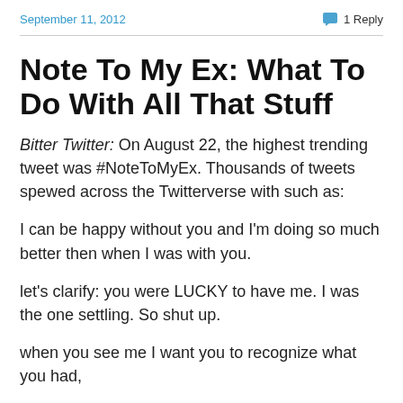September 11, 2012
1 Reply
Note To My Ex: What To Do With All That Stuff
Bitter Twitter: On August 22, the highest trending tweet was #NoteToMyEx. Thousands of tweets spewed across the Twitterverse with such as:
I can be happy without you and I'm doing so much better then when I was with you.
let's clarify: you were LUCKY to have me. I was the one settling. So shut up.
when you see me I want you to recognize what you had,